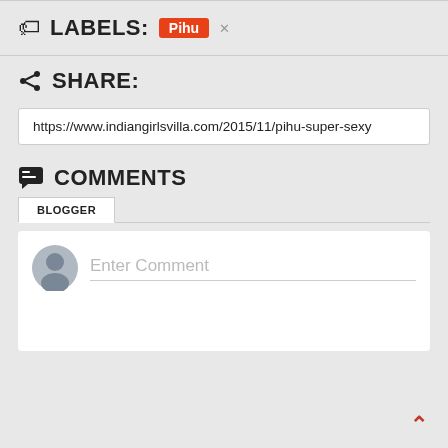LABELS: Pihu
SHARE:
https://www.indiangirlsvilla.com/2015/11/pihu-super-sexy
COMMENTS
BLOGGER
Enter Comment